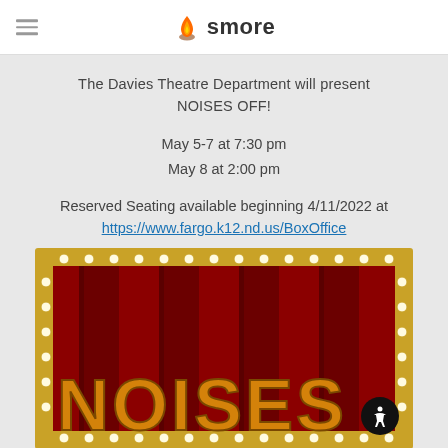smore
The Davies Theatre Department will present NOISES OFF!
May 5-7 at 7:30 pm
May 8 at 2:00 pm
Reserved Seating available beginning 4/11/2022 at https://www.fargo.k12.nd.us/BoxOffice
[Figure (illustration): Theater poster for 'Noises Off!' showing marquee-style illuminated letters spelling NOISES against red curtains with a gold decorative border with lights]